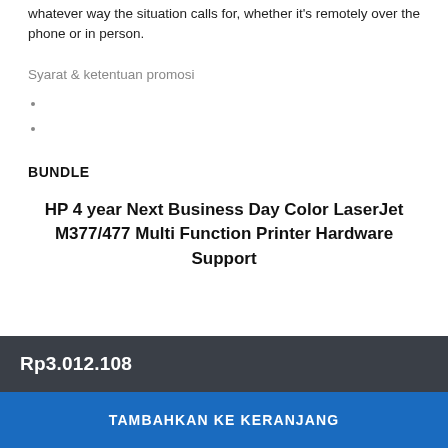whatever way the situation calls for, whether it's remotely over the phone or in person.
Syarat & ketentuan promosi
BUNDLE
HP 4 year Next Business Day Color LaserJet M377/477 Multi Function Printer Hardware Support
Rp3.012.108
TAMBAHKAN KE KERANJANG